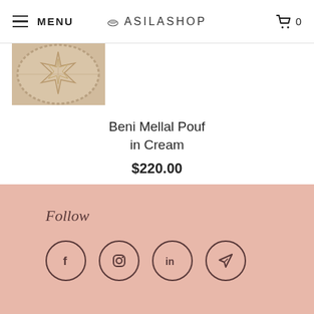MENU | ASILASHOP | 0
[Figure (photo): Close-up photo of a cream-colored Moroccan pouf with embroidered star pattern and beaded edge detail]
Beni Mellal Pouf in Cream
$220.00
Follow
[Figure (infographic): Social media icons in circles: Facebook, Instagram, LinkedIn, Share/Telegram]